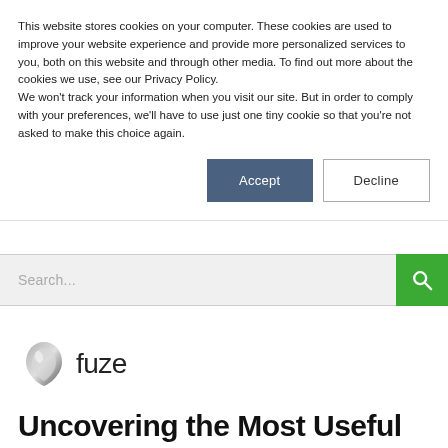This website stores cookies on your computer. These cookies are used to improve your website experience and provide more personalized services to you, both on this website and through other media. To find out more about the cookies we use, see our Privacy Policy.
We won't track your information when you visit our site. But in order to comply with your preferences, we'll have to use just one tiny cookie so that you're not asked to make this choice again.
Accept
Decline
Search...
[Figure (logo): Fuze company logo with a teardrop/shield shaped icon and the word 'fuze' in dark text]
Uncovering the Most Useful Metrics for Planning Season